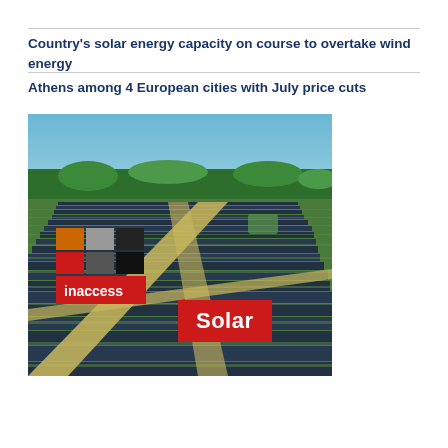Country's solar energy capacity on course to overtake wind energy
Athens among 4 European cities with July price cuts
[Figure (photo): Aerial view of a large solar farm with rows of solar panels across a flat, partly forested landscape. Overlaid with the Inaccess logo (red and black squares with white text) in the top-left corner and a red banner reading 'Solar' in the lower-right area.]